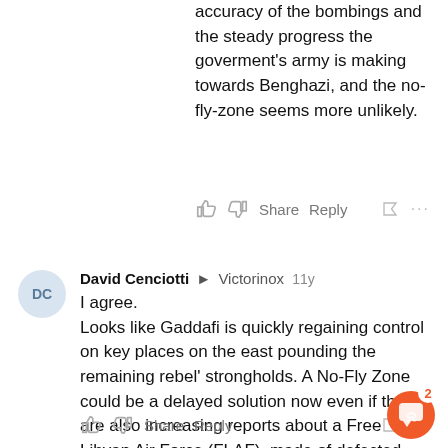accuracy of the bombings and the steady progress the goverment's army is making towards Benghazi, and the no-fly-zone seems more unlikely.
David Cenciotti → Victorinox 11y
I agree.
Looks like Gaddafi is quickly regaining control on key places on the east pounding the remaining rebel' strongholds. A No-Fly Zone could be a delayed solution now even if there are also increasing reports about a Free Libyan Air Force (FLAF), made of defected aircraft, attacking loyalists at Ajdabiya with some success (2 shi... yesterday).